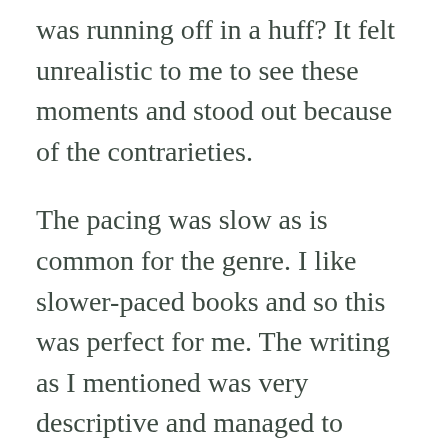was running off in a huff? It felt unrealistic to me to see these moments and stood out because of the contrarieties.
The pacing was slow as is common for the genre. I like slower-paced books and so this was perfect for me. The writing as I mentioned was very descriptive and managed to capture the realities of the time and I loved it. When it comes to the characters, Elsa and Loreda are the main voices we hear through the story and it is their perspectives that make the story it is. Loreda is willful and hot-headed and takes after her father. She wants to fight against injustice